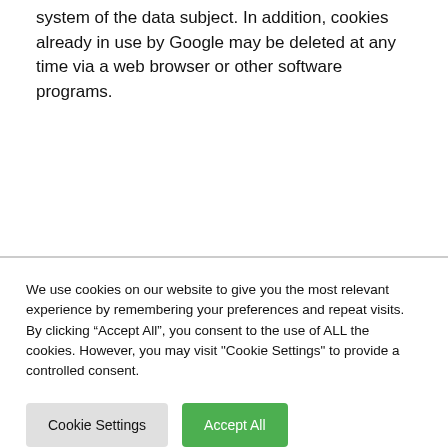setting a cookie on the information technology system of the data subject. In addition, cookies already in use by Google may be deleted at any time via a web browser or other software programs.
We use cookies on our website to give you the most relevant experience by remembering your preferences and repeat visits. By clicking “Accept All”, you consent to the use of ALL the cookies. However, you may visit "Cookie Settings" to provide a controlled consent.